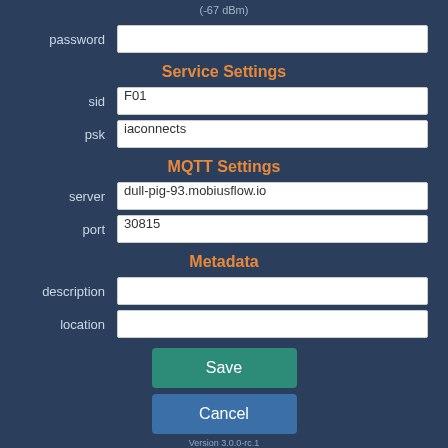(-67 dBm)
password
Service Settings
sid
F01
psk
iaconnects
MQTT Settings
server
dull-pig-93.mobiusflow.io
port
30815
Metadata
description
location
Save
Cancel
Version 3.0.0-rc.1
© 2019 iaconnects Technology Limited